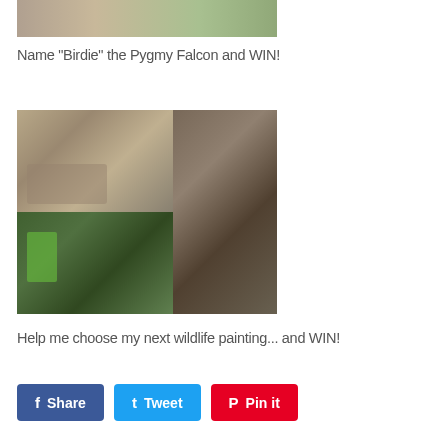[Figure (photo): Partial view of two wildlife art prints on a wooden surface]
Name "Birdie" the Pygmy Falcon and WIN!
[Figure (photo): Grid of four wildlife photos: a wildcat lying down, a squirrel on a tree trunk, a green bee-eater bird on a branch, and a small mammal on a tree]
Help me choose my next wildlife painting... and WIN!
Share
Tweet
Pin it